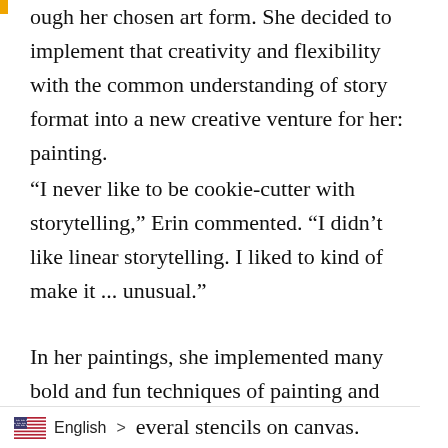...ugh her chosen art form. She decided to implement that creativity and flexibility with the common understanding of story format into a new creative venture for her: painting.
“I never like to be cookie-cutter with storytelling,” Erin commented. “I didn’t like linear storytelling. I liked to kind of make it ... unusual.”
In her paintings, she implemented many bold and fun techniques of painting and “Chaos in Balance,” her entry in this year’s ArtPrize, is no exception. For her latest piece, she decided to use several stencils on canvas.
English > everal stencils on canvas.